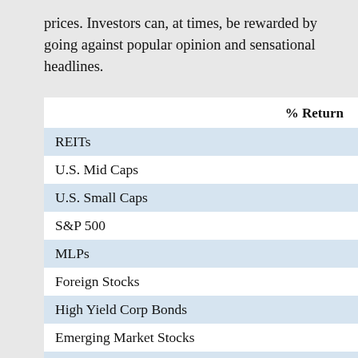prices. Investors can, at times, be rewarded by going against popular opinion and sensational headlines.
| % Return |
| --- |
| REITs |
| U.S. Mid Caps |
| U.S. Small Caps |
| S&P 500 |
| MLPs |
| Foreign Stocks |
| High Yield Corp Bonds |
| Emerging Market Stocks |
| Bank Loans |
| Emerging Market Bonds |
| High Yield Munis |
| Investment Grade Corp |
| Investment Grade Muni |